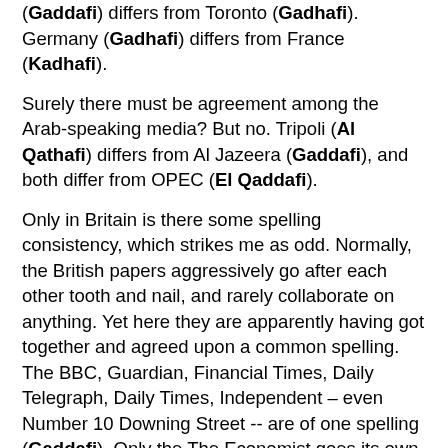(Gaddafi) differs from Toronto (Gadhafi). Germany (Gadhafi) differs from France (Kadhafi).
Surely there must be agreement among the Arab-speaking media? But no. Tripoli (Al Qathafi) differs from Al Jazeera (Gaddafi), and both differ from OPEC (El Qaddafi).
Only in Britain is there some spelling consistency, which strikes me as odd. Normally, the British papers aggressively go after each other tooth and nail, and rarely collaborate on anything. Yet here they are apparently having got together and agreed upon a common spelling. The BBC, Guardian, Financial Times, Daily Telegraph, Daily Times, Independent – even Number 10 Downing Street -- are of one spelling (Gaddafi). Only the The Economist goes its own way (Qaddafi). But, then, The Economist often goes its own way.
Now here is either the most amusing or the most discouraging part of this story. Getting our foreign policy consistent among our various government departments and agencies is understandably difficult. Rare is the time that the President and State and the CIA are on the same page on